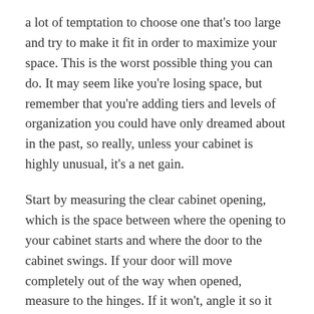a lot of temptation to choose one that's too large and try to make it fit in order to maximize your space. This is the worst possible thing you can do. It may seem like you're losing space, but remember that you're adding tiers and levels of organization you could have only dreamed about in the past, so really, unless your cabinet is highly unusual, it's a net gain.
Start by measuring the clear cabinet opening, which is the space between where the opening to your cabinet starts and where the door to the cabinet swings. If your door will move completely out of the way when opened, measure to the hinges. If it won't, angle it so it intrudes as little as possible and measure from the open side to the door. Your final cabinet insert should be about an inch more narrow than the clear cabinet opening to allow for hardware. You'll also want to measure the depth of the cabinet from the inside of the cabinet face to the back